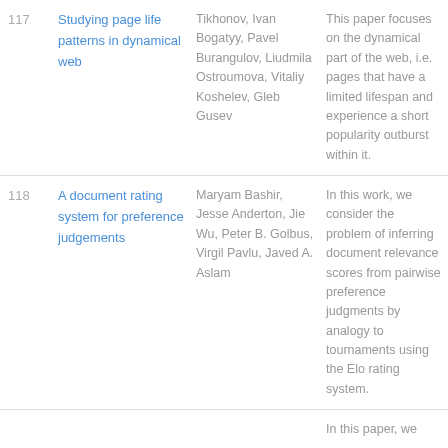| # | Title | Authors | Abstract |
| --- | --- | --- | --- |
| 117 | Studying page life patterns in dynamical web | Tikhonov, Ivan Bogatyy, Pavel Burangulov, Liudmila Ostroumova, Vitaliy Koshelev, Gleb Gusev | This paper focuses on the dynamical part of the web, i.e. pages that have a limited lifespan and experience a short popularity outburst within it. |
| 118 | A document rating system for preference judgements | Maryam Bashir, Jesse Anderton, Jie Wu, Peter B. Golbus, Virgil Pavlu, Javed A. Aslam | In this work, we consider the problem of inferring document relevance scores from pairwise preference judgments by analogy to tournaments using the Elo rating system. |
|  |  |  | In this paper, we |